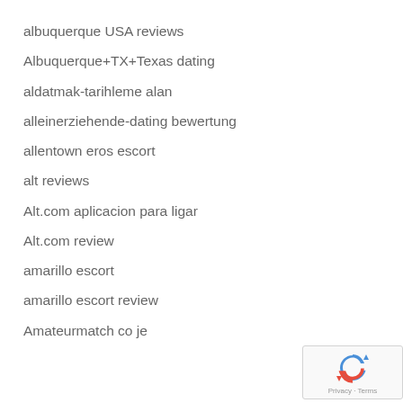albuquerque USA reviews
Albuquerque+TX+Texas dating
aldatmak-tarihleme alan
alleinerziehende-dating bewertung
allentown eros escort
alt reviews
Alt.com aplicacion para ligar
Alt.com review
amarillo escort
amarillo escort review
Amateurmatch co je